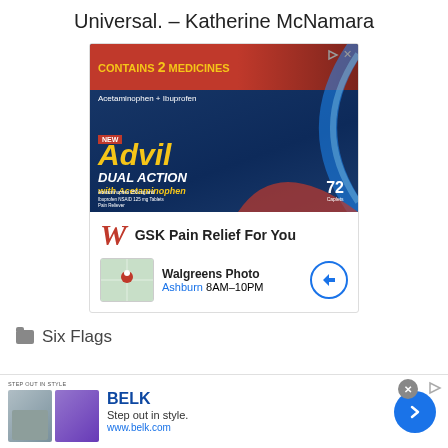Universal. – Katherine McNamara
[Figure (photo): Advertisement for Advil Dual Action with Acetaminophen, showing product box. Includes Walgreens logo with text 'GSK Pain Relief For You' and location info 'Walgreens Photo, Ashburn 8AM-10PM']
Six Flags
[Figure (photo): Advertisement for Belk. Text: 'STEP OUT IN STYLE', 'BELK', 'Step out in style.', 'www.belk.com'. Shows two fashion images.]